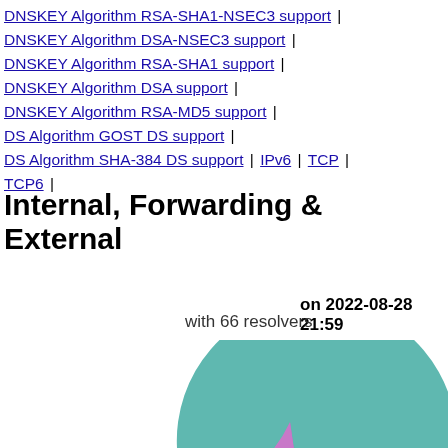DNSKEY Algorithm RSA-SHA1-NSEC3 support | DNSKEY Algorithm DSA-NSEC3 support | DNSKEY Algorithm RSA-SHA1 support | DNSKEY Algorithm DSA support | DNSKEY Algorithm RSA-MD5 support | DS Algorithm GOST DS support | DS Algorithm SHA-384 DS support | IPv6 | TCP | TCP6 |
Internal, Forwarding & External
on 2022-08-28 21:59
with 66 resolvers
[Figure (pie-chart): Partial pie chart visible at bottom of page, showing teal/green and purple/pink segments]